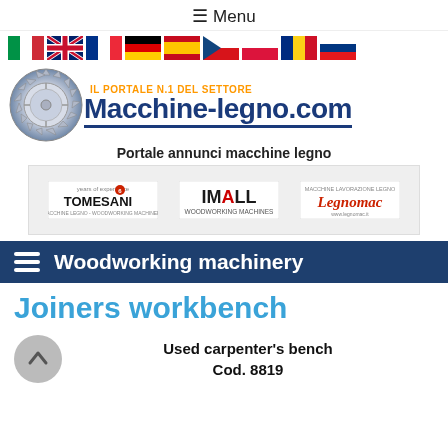☰ Menu
[Figure (illustration): Row of country flag icons: Italy, UK, France, Germany, Spain, Czech Republic, Poland, Romania, Russia]
[Figure (logo): Macchine-legno.com logo with circular saw blade graphic, orange tagline IL PORTALE N.1 DEL SETTORE, blue bold site name Macchine-legno.com]
Portale annunci macchine legno
[Figure (logo): Three partner logos: Tomesani (years of experience), IMALL Woodworking Machines, Legnomac (macchine lavorazione legno)]
Woodworking machinery
Joiners workbench
Used carpenter's bench
Cod. 8819